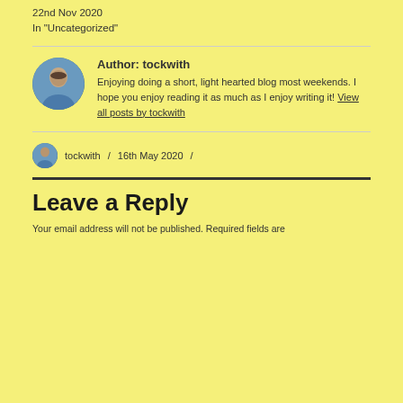22nd Nov 2020
In "Uncategorized"
Author: tockwith
Enjoying doing a short, light hearted blog most weekends. I hope you enjoy reading it as much as I enjoy writing it! View all posts by tockwith
tockwith / 16th May 2020 /
Leave a Reply
Your email address will not be published. Required fields are